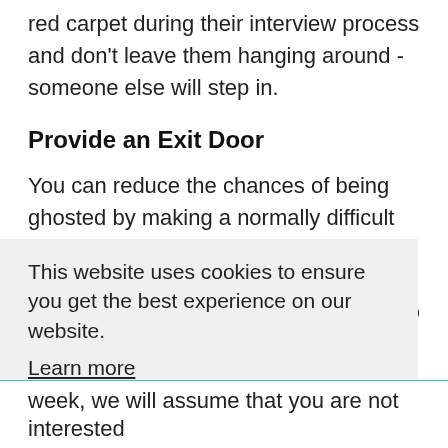red carpet during their interview process and don't leave them hanging around - someone else will step in.
Provide an Exit Door
You can reduce the chances of being ghosted by making a normally difficult conversation less awkward. For example, explaining to the candidate that if, at any stage, they begin to
This website uses cookies to ensure you get the best experience on our website. Learn more
week, we will assume that you are not interested